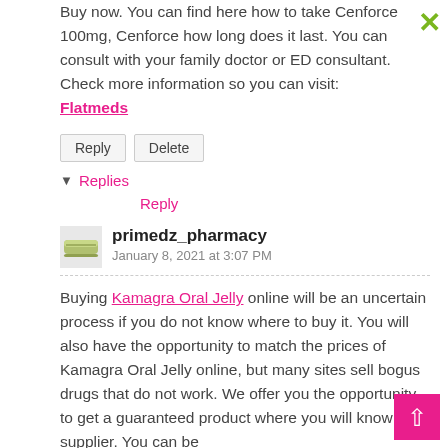Buy now. You can find here how to take Cenforce 100mg, Cenforce how long does it last. You can consult with your family doctor or ED consultant. Check more information so you can visit: Flatmeds
Reply
Delete
▾ Replies
Reply
primedz_pharmacy
January 8, 2021 at 3:07 PM
Buying Kamagra Oral Jelly online will be an uncertain process if you do not know where to buy it. You will also have the opportunity to match the prices of Kamagra Oral Jelly online, but many sites sell bogus drugs that do not work. We offer you the opportunity to get a guaranteed product where you will know its supplier. You can be